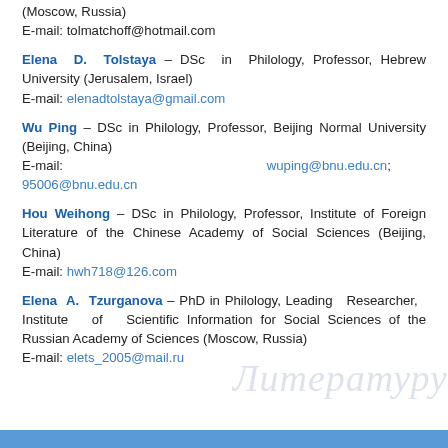(Moscow, Russia)
E-mail: tolmatchoff@hotmail.com
Elena D. Tolstaya – DSc in Philology, Professor, Hebrew University (Jerusalem, Israel)
E-mail: elenadtolstaya@gmail.com
Wu Ping – DSc in Philology, Professor, Beijing Normal University (Beijing, China)
E-mail: wuping@bnu.edu.cn; 95006@bnu.edu.cn
Hou Weihong – DSc in Philology, Professor, Institute of Foreign Literature of the Chinese Academy of Social Sciences (Beijing, China)
E-mail: hwh718@126.com
Elena A. Tzurganova – PhD in Philology, Leading Researcher, Institute of Scientific Information for Social Sciences of the Russian Academy of Sciences (Moscow, Russia)
E-mail: elets_2005@mail.ru